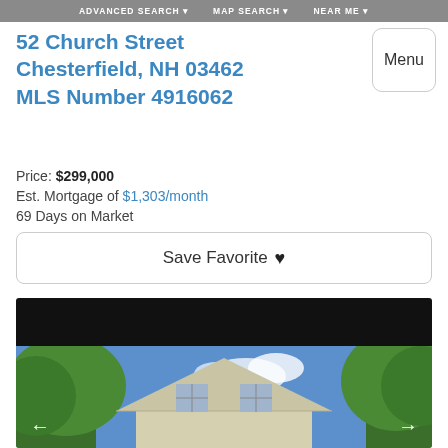ADVANCED SEARCH ▾   MAP SEARCH ▾   NEAR ME ▾
52 Church Street
Chesterfield, NH 03462
MLS Number 4916062
Price: $299,000
Est. Mortgage of $1,303/month
69 Days on Market
Save Favorite ♥
[Figure (photo): Exterior photo of a light yellow/cream colonial-style house with a pointed roof, two windows on upper floor, trees on either side, blue sky with clouds. Black bar at top of image. Left and right navigation arrows at bottom.]